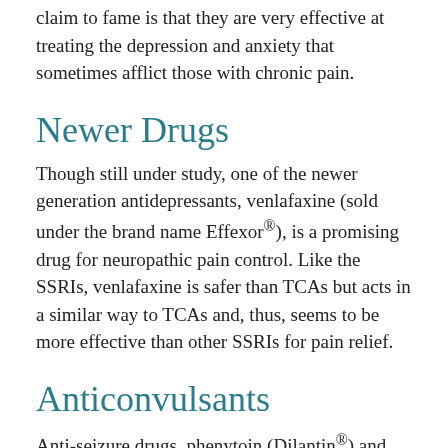claim to fame is that they are very effective at treating the depression and anxiety that sometimes afflict those with chronic pain.
Newer Drugs
Though still under study, one of the newer generation antidepressants, venlafaxine (sold under the brand name Effexor®), is a promising drug for neuropathic pain control. Like the SSRIs, venlafaxine is safer than TCAs but acts in a similar way to TCAs and, thus, seems to be more effective than other SSRIs for pain relief.
Anticonvulsants
Anti-seizure drugs, phenytoin (Dilantin®) and carbamazepine (Tegretol®), are effective in treating